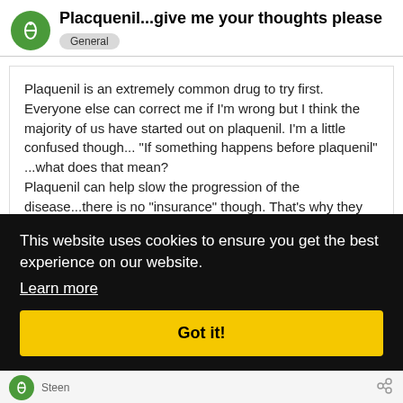Placquenil...give me your thoughts please
General
Plaquenil is an extremely common drug to try first. Everyone else can correct me if I'm wrong but I think the majority of us have started out on plaquenil. I'm a little confused though... "If something happens before plaquenil" ...what does that mean?
Plaquenil can help slow the progression of the disease...there is no "insurance" though. That's why they call lupus "the great imitator" or it's referred to as "the many faces of lupus"... it affects everyone differently. No [text obscured by cookie banner] plaquenil [text obscured]
This website uses cookies to ensure you get the best experience on our website. Learn more
Got it!
Steen